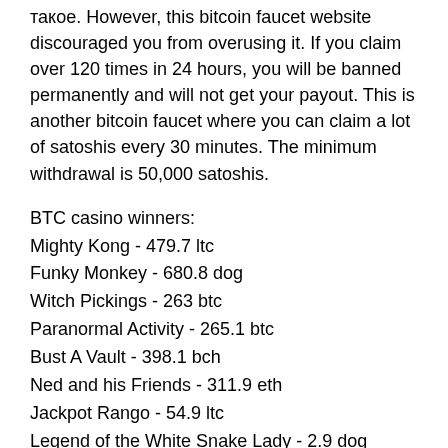такое. However, this bitcoin faucet website discouraged you from overusing it. If you claim over 120 times in 24 hours, you will be banned permanently and will not get your payout. This is another bitcoin faucet where you can claim a lot of satoshis every 30 minutes. The minimum withdrawal is 50,000 satoshis.
BTC casino winners:
Mighty Kong - 479.7 ltc
Funky Monkey - 680.8 dog
Witch Pickings - 263 btc
Paranormal Activity - 265.1 btc
Bust A Vault - 398.1 bch
Ned and his Friends - 311.9 eth
Jackpot Rango - 54.9 ltc
Legend of the White Snake Lady - 2.9 dog
The Land of Heroes Golden Nights - 231.8 btc
Rainbow Jackpots - 59.1 eth